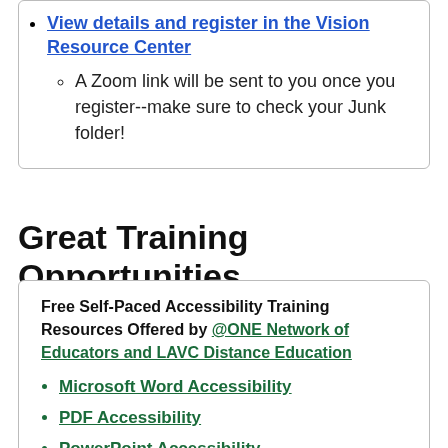View details and register in the Vision Resource Center
A Zoom link will be sent to you once you register--make sure to check your Junk folder!
Great Training Opportunities
Free Self-Paced Accessibility Training Resources Offered by @ONE Network of Educators and LAVC Distance Education
Microsoft Word Accessibility
PDF Accessibility
PowerPoint Accessibility